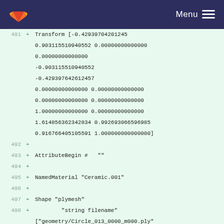GitLab Menu
491  Transform [-0.42939704201245,
    0.903115510940552 0.00000000000000
    0.00000000000000
    -0.903115510940552
    -0.42939764261245
    0.00000000000000 0.00000000000000
    0.00000000000000 0.00000000000000
    1.00000000000000 0.00000000000000
    1.61485636234283 0.99269306659698
    0.91676640510559 1.00000000000000]
492  +
493  + AttributeBegin #  ""
494  +
495  + NamedMaterial "Ceramic.001"
496  +
497  + Shape "plymesh"
498  +         "string filename" ["geometry/Circle_013_0000_m000.ply"]
499  +
500  + AttributeEnd ""